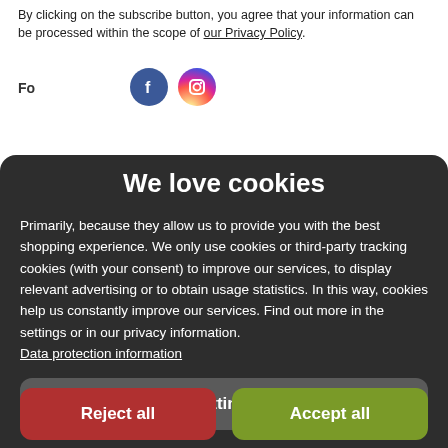By clicking on the subscribe button, you agree that your information can be processed within the scope of our Privacy Policy.
[Figure (illustration): Facebook and Instagram social media icons (circles with logos)]
We love cookies
Primarily, because they allow us to provide you with the best shopping experience. We only use cookies or third-party tracking cookies (with your consent) to improve our services, to display relevant advertising or to obtain usage statistics. In this way, cookies help us constantly improve our services. Find out more in the settings or in our privacy information. Data protection information
Settings
Reject all
Accept all